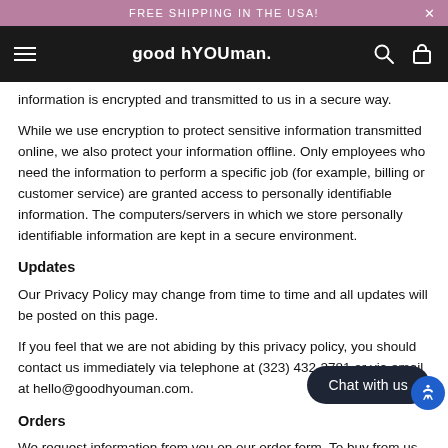FREE SHIPPING IN THE USA!
good hYOUman.
information is encrypted and transmitted to us in a secure way.
While we use encryption to protect sensitive information transmitted online, we also protect your information offline. Only employees who need the information to perform a specific job (for example, billing or customer service) are granted access to personally identifiable information. The computers/servers in which we store personally identifiable information are kept in a secure environment.
Updates
Our Privacy Policy may change from time to time and all updates will be posted on this page.
If you feel that we are not abiding by this privacy policy, you should contact us immediately via telephone at (323) 432-2781 or via email at hello@goodhyouman.com.
Orders
We request information from you on our order form. To buy from us, you must provide contact information (like name and shipping address) and